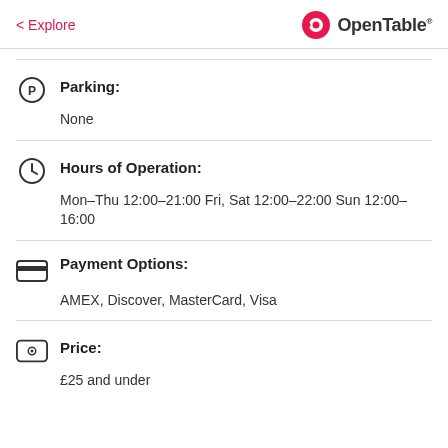< Explore  OpenTable
Parking: None
Hours of Operation: Mon–Thu 12:00–21:00 Fri, Sat 12:00–22:00 Sun 12:00–16:00
Payment Options: AMEX, Discover, MasterCard, Visa
Price: £25 and under